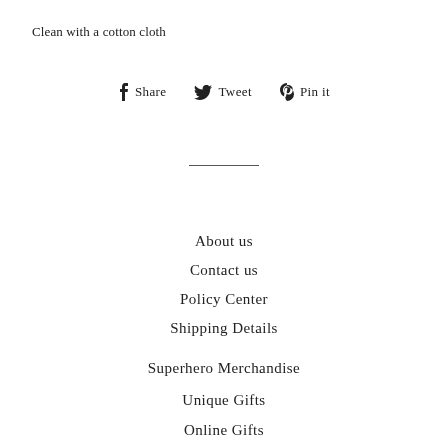Clean with a cotton cloth
Share   Tweet   Pin it
About us
Contact us
Policy Center
Shipping Details
Superhero Merchandise
Unique Gifts
Online Gifts